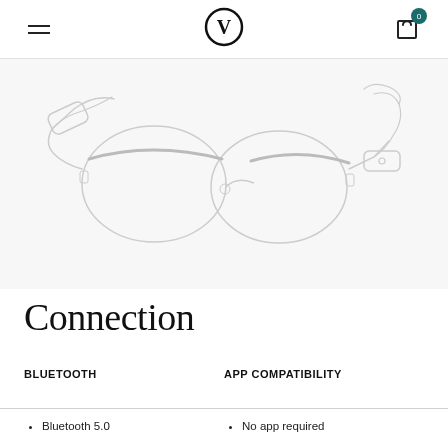Navigation header with hamburger menu, V logo, and cart with 0 items
[Figure (illustration): Line drawing illustration of smart glasses (clubmaster/wayfarer style) with thick temple arms housing speakers, shown in three-quarter perspective view on light gray background]
Connection
| BLUETOOTH | APP COMPATIBILITY |
| --- | --- |
| Bluetooth 5.0 | No app required |
Bluetooth 5.0
No app required